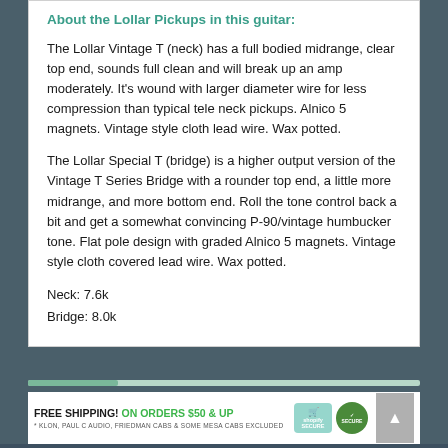About the Lollar Pickups in this guitar:
The Lollar Vintage T (neck) has a full bodied midrange, clear top end, sounds full clean and will break up an amp moderately. It's wound with larger diameter wire for less compression than typical tele neck pickups. Alnico 5 magnets. Vintage style cloth lead wire. Wax potted.
The Lollar Special T (bridge) is a higher output version of the Vintage T Series Bridge with a rounder top end, a little more midrange, and more bottom end. Roll the tone control back a bit and get a somewhat convincing P-90/vintage humbucker tone. Flat pole design with graded Alnico 5 magnets. Vintage style cloth covered lead wire. Wax potted.
Neck: 7.6k
Bridge: 8.0k
FREE SHIPPING! ON ORDERS $50 & UP * KLON, PAUL C AUDIO, FRIEDMAN CABS & SOME MESA CABS EXCLUDED